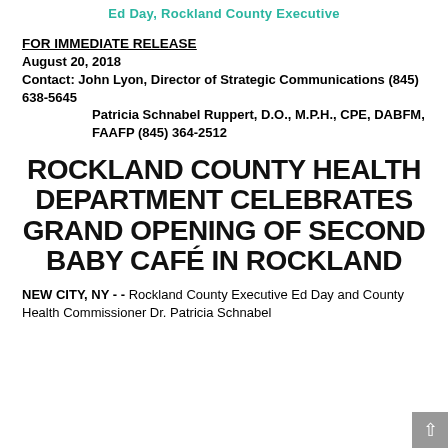Ed Day, Rockland County Executive
FOR IMMEDIATE RELEASE
August 20, 2018
Contact: John Lyon, Director of Strategic Communications (845) 638-5645
            Patricia Schnabel Ruppert, D.O., M.P.H., CPE, DABFM, FAAFP (845) 364-2512
ROCKLAND COUNTY HEALTH DEPARTMENT CELEBRATES GRAND OPENING OF SECOND BABY CAFÉ IN ROCKLAND
NEW CITY, NY - -  Rockland County Executive Ed Day and County Health Commissioner Dr. Patricia Schnabel